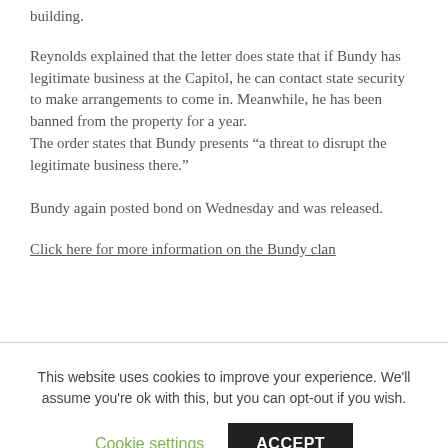building.
Reynolds explained that the letter does state that if Bundy has legitimate business at the Capitol, he can contact state security to make arrangements to come in. Meanwhile, he has been banned from the property for a year.
The order states that Bundy presents “a threat to disrupt the legitimate business there.”
Bundy again posted bond on Wednesday and was released.
Click here for more information on the Bundy clan
This website uses cookies to improve your experience. We'll assume you're ok with this, but you can opt-out if you wish.